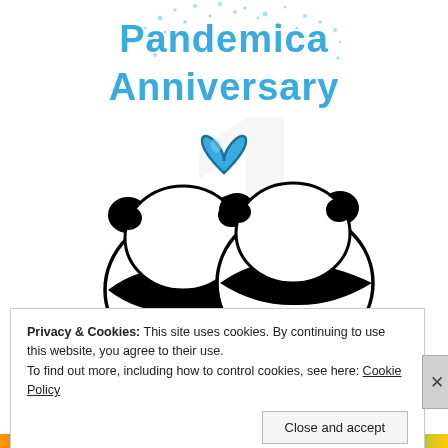[Figure (illustration): Greeting card illustration showing two cartoon pandas sitting side by side (seen from behind), with a blue heart floating above them. Above the pandas is colorful handwritten-style text reading 'Pandemica Anniversary' with confetti dots around it. A faint watermark is visible in the background.]
Privacy & Cookies: This site uses cookies. By continuing to use this website, you agree to their use.
To find out more, including how to control cookies, see here: Cookie Policy